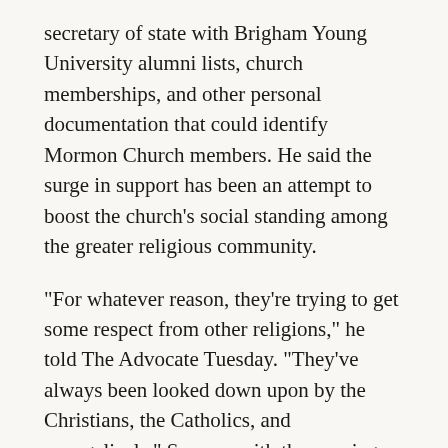secretary of state with Brigham Young University alumni lists, church memberships, and other personal documentation that could identify Mormon Church members. He said the surge in support has been an attempt to boost the church's social standing among the greater religious community.
"For whatever reason, they're trying to get some respect from other religions," he told The Advocate Tuesday. "They've always been looked down upon by the Christians, the Catholics, and evangelicals." Success with the marriage amendment would give the church credibility, Karger said.